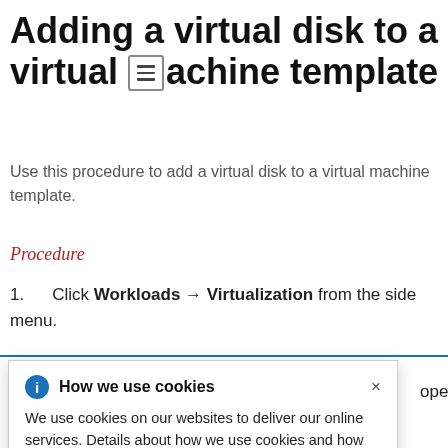Adding a virtual disk to a virtual machine template
Use this procedure to add a virtual disk to a virtual machine template.
Procedure
Click Workloads → Virtualization from the side menu.
[Figure (screenshot): Cookie consent popup overlay showing 'How we use cookies' dialog with info icon, close button, descriptive text about cookies, and a link to Privacy Statement.]
open the ... Source, Name, Size, Type, Interface, and Storage